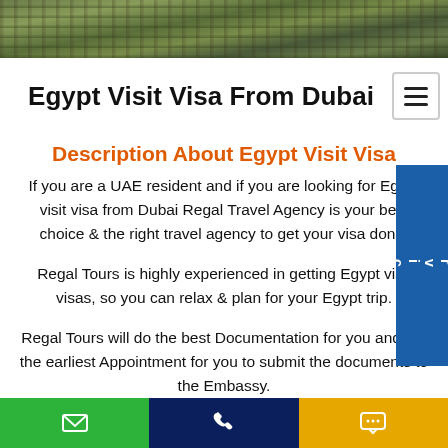[Figure (photo): Aerial photo strip showing landscape/terrain from above]
Egypt Visit Visa From Dubai
Description About Egypt Visit Visa
If you are a UAE resident and if you are looking for Egypt visit visa from Dubai Regal Travel Agency is your best choice & the right travel agency to get your visa done.
Regal Tours is highly experienced in getting Egypt visit visas, so you can relax & plan for your Egypt trip.
Regal Tours will do the best Documentation for you and get the earliest Appointment for you to submit the documents to the Embassy.
Services tab (email, phone, chat buttons)